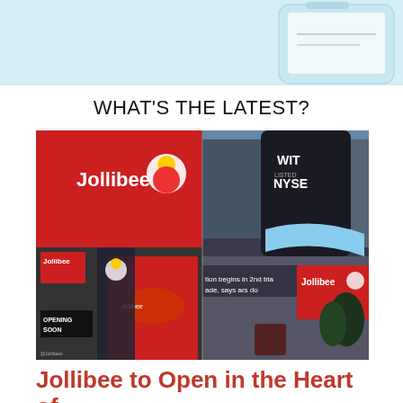[Figure (photo): Light blue background banner area with a partial phone/device graphic on the right side]
WHAT'S THE LATEST?
[Figure (photo): Two side-by-side photos: Left shows Jollibee storefront with red signage, 'Jollibee' logo and mascot, 'OPENING SOON' signage, and a woman holding fried chicken. Right shows Times Square area with NYSE building and a Jollibee store exterior with red signage.]
Jollibee to Open in the Heart of